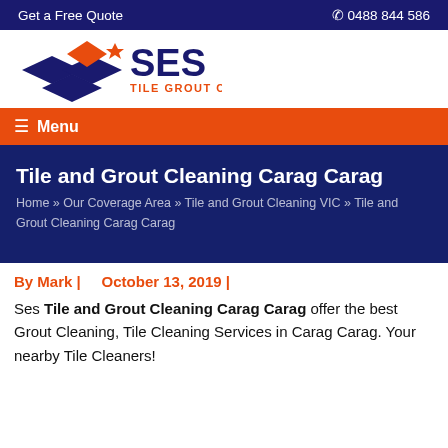Get a Free Quote   📞 0488 844 586
[Figure (logo): SES Tile Grout Cleaning logo with diamond shapes in orange and blue]
☰ Menu
Tile and Grout Cleaning Carag Carag
Home » Our Coverage Area » Tile and Grout Cleaning VIC » Tile and Grout Cleaning Carag Carag
By Mark |     October 13, 2019 |
Ses Tile and Grout Cleaning Carag Carag offer the best Grout Cleaning, Tile Cleaning Services in Carag Carag. Your nearby Tile Cleaners!